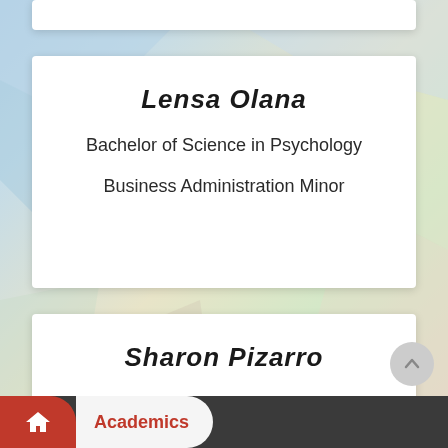Lensa Olana
Bachelor of Science in Psychology
Business Administration Minor
Sharon Pizarro
Bachelor of Science in International Rescue and Relief; Pre-Dental; Pre...
Academics